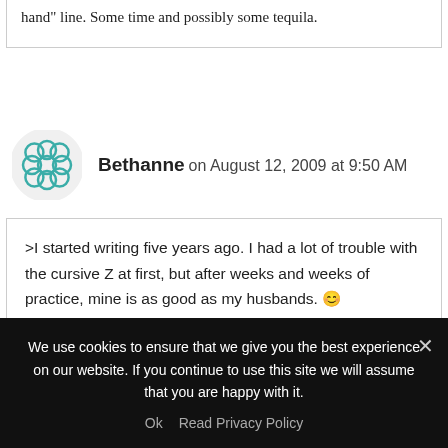hand" line. Some time and possibly some tequila.
Bethanne on August 12, 2009 at 9:50 AM
>I started writing five years ago. I had a lot of trouble with the cursive Z at first, but after weeks and weeks of practice, mine is as good as my husbands. 🙂
We use cookies to ensure that we give you the best experience on our website. If you continue to use this site we will assume that you are happy with it.
Ok   Read Privacy Policy